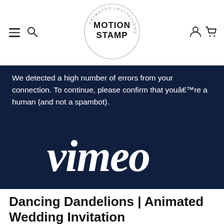[Figure (logo): Motion Stamp Animated Invitations logo - circular badge with 'MOTION STAMP' text in the center and 'ANIMATED INVITATIONS' text around the circle border]
We detected a high number of errors from your connection. To continue, please confirm that youâ€™re a human (and not a spambot).
[Figure (logo): Vimeo logo in white on dark navy background]
Dancing Dandelions | Animated Wedding Invitation